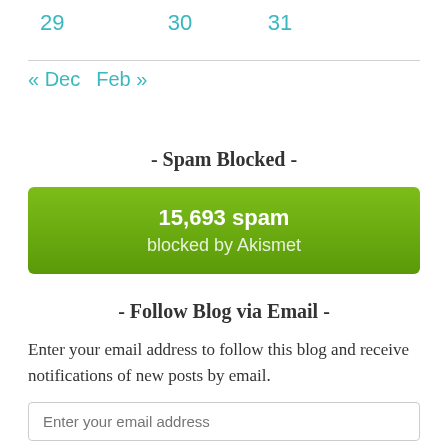29   30   31
« Dec   Feb »
- Spam Blocked -
15,693 spam blocked by Akismet
- Follow Blog via Email -
Enter your email address to follow this blog and receive notifications of new posts by email.
Enter your email address